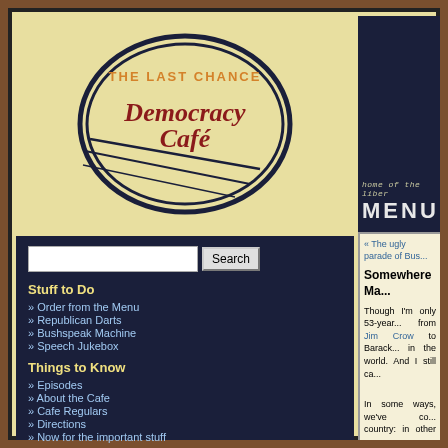[Figure (logo): The Last Chance Democracy Cafe logo - oval shaped retro diner logo with dark blue border lines and golden/tan background, orange text reading 'THE LAST CHANCE' at top and cursive red text 'Democracy Café' in the middle]
home of the liber... MENU
Search
Stuff to Do
» Order from the Menu
» Republican Darts
» Bushspeak Machine
» Speech Jukebox
Things to Know
» Episodes
» About the Cafe
» Cafe Regulars
» Directions
» Now for the important stuff
« The ugly parade of Bus...
Somewhere Ma...
Though I'm only 53-year... from Jim Crow to Barack... in the world. And I still ca...
In some ways, we've co... country: in other ways, w... an African American prea... have seemed almost as...